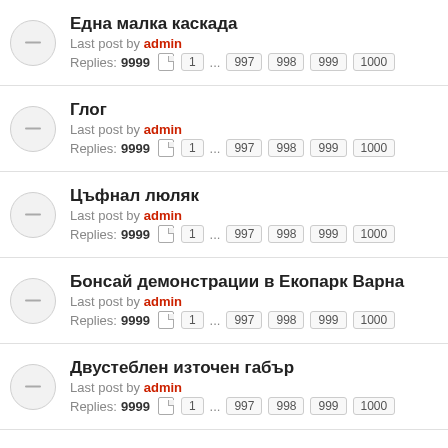Една малка каскада — Last post by admin — Replies: 9999 — Pages: 1 ... 997 998 999 1000
Глог — Last post by admin — Replies: 9999 — Pages: 1 ... 997 998 999 1000
Цъфнал люляк — Last post by admin — Replies: 9999 — Pages: 1 ... 997 998 999 1000
Бонсай демонстрации в Екопарк Варна — Last post by admin — Replies: 9999 — Pages: 1 ... 997 998 999 1000
Двустебленизточен габър — Last post by admin — Replies: 9999 — Pages: 1 ... 997 998 999 1000